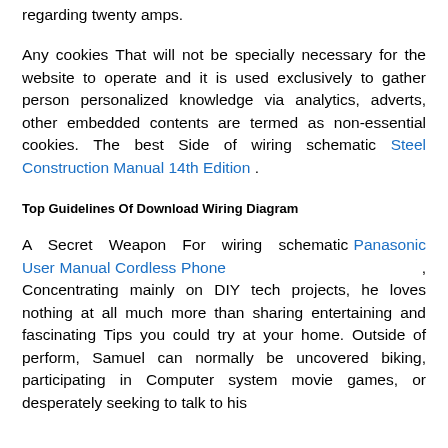regarding twenty amps.
Any cookies That will not be specially necessary for the website to operate and it is used exclusively to gather person personalized knowledge via analytics, adverts, other embedded contents are termed as non-essential cookies. The best Side of wiring schematic Steel Construction Manual 14th Edition .
Top Guidelines Of Download Wiring Diagram
A Secret Weapon For wiring schematic Panasonic User Manual Cordless Phone , Concentrating mainly on DIY tech projects, he loves nothing at all much more than sharing entertaining and fascinating Tips you could try at your home. Outside of perform, Samuel can normally be uncovered biking, participating in Computer system movie games, or desperately seeking to talk to his